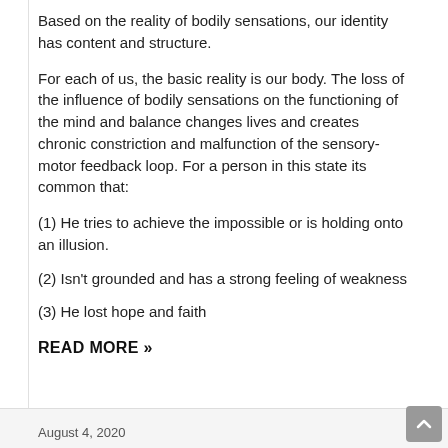Based on the reality of bodily sensations, our identity has content and structure.
For each of us, the basic reality is our body. The loss of the influence of bodily sensations on the functioning of the mind and balance changes lives and creates chronic constriction and malfunction of the sensory-motor feedback loop. For a person in this state its common that:
(1) He tries to achieve the impossible or is holding onto an illusion.
(2) Isn't grounded and has a strong feeling of weakness
(3) He lost hope and faith
READ MORE »
August 4, 2020